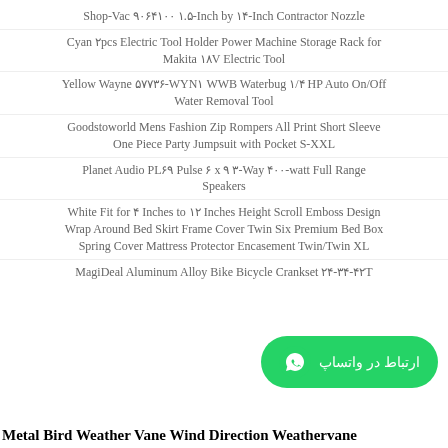Shop-Vac ۹۰۶۴۱۰۰ ۱.۵-Inch by ۱۴-Inch Contractor Nozzle
Cyan ۲pcs Electric Tool Holder Power Machine Storage Rack for Makita ۱۸V Electric Tool
Yellow Wayne ۵۷۷۳۶-WYN۱ WWB Waterbug ۱/۴ HP Auto On/Off Water Removal Tool
Goodstoworld Mens Fashion Zip Rompers All Print Short Sleeve One Piece Party Jumpsuit with Pocket S-XXL
Planet Audio PL۶۹ Pulse ۶ x ۹ ۳-Way ۴۰۰-watt Full Range Speakers
White Fit for ۴ Inches to ۱۲ Inches Height Scroll Emboss Design Wrap Around Bed Skirt Frame Cover Twin Six Premium Bed Box Spring Cover Mattress Protector Encasement Twin/Twin XL
MagiDeal Aluminum Alloy Bike Bicycle Crankset ۲۴-۳۴-۴۲T
Metal Bird Weather Vane Wind Direction Weathervane